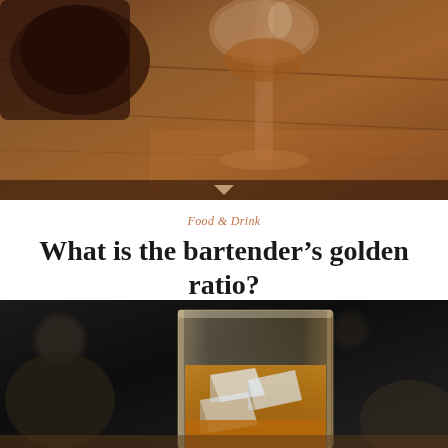[Figure (photo): Close-up photograph of a wine glass and what appears to be a cocktail shaker or cup on a warm wooden surface, with rich brown and amber tones]
Food & Drink
What is the bartender’s golden ratio?
[Figure (photo): Close-up photograph of an old fashioned glass filled with ice and whiskey/bourbon, amber colored liquid with large ice cubes, dark background with bokeh effect]